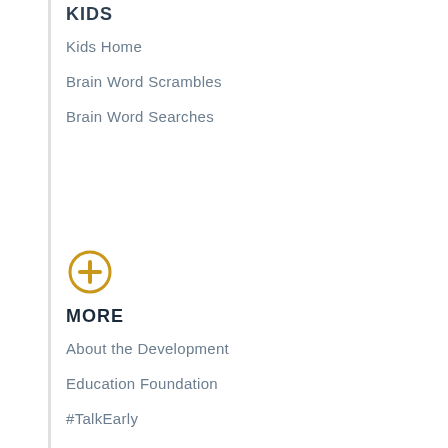KIDS
Kids Home
Brain Word Scrambles
Brain Word Searches
[Figure (illustration): Gold circle with plus sign icon]
MORE
About the Development
Education Foundation
#TalkEarly
Social Media Center
Classroom Champions
Additional Materials
About